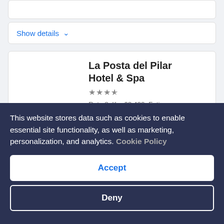Show details
La Posta del Pilar Hotel & Spa
★★★½
Ruta 8, Km 62,400, Fatima, Fátima, Buenos Aires, 1633
£101
per night
This website stores data such as cookies to enable essential site functionality, as well as marketing, personalization, and analytics. Cookie Policy
Accept
Deny